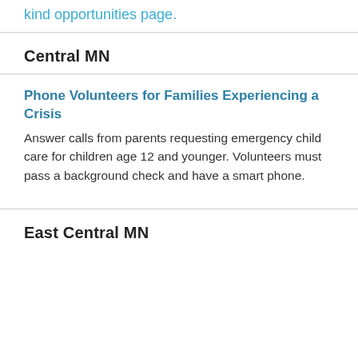kind opportunities page.
Central MN
Phone Volunteers for Families Experiencing a Crisis
Answer calls from parents requesting emergency child care for children age 12 and younger. Volunteers must pass a background check and have a smart phone.
East Central MN